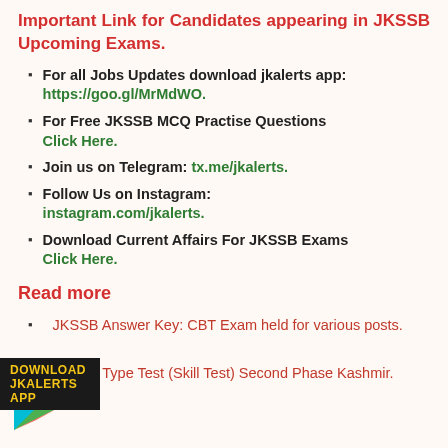Important Link for Candidates appearing in JKSSB Upcoming Exams.
For all Jobs Updates download jkalerts app: https://goo.gl/MrMdWO.
For Free JKSSB MCQ Practise Questions Click Here.
Join us on Telegram: tx.me/jkalerts.
Follow Us on Instagram: instagram.com/jkalerts.
Download Current Affairs For JKSSB Exams Click Here.
Read more
JKSSB Answer Key: CBT Exam held for various posts.
JKSSB Type Test (Skill Test) Second Phase Kashmir.
[Figure (logo): DOWNLOAD JKALERTS APP banner with Google Play triangle icon in green, blue, red, yellow colors]